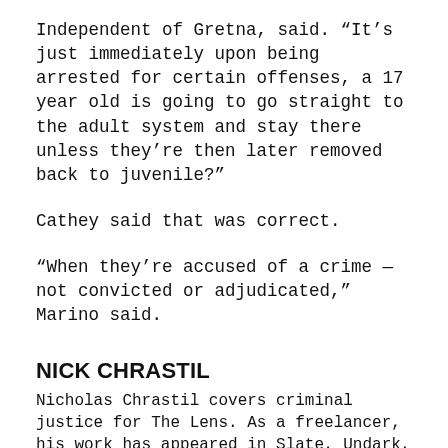Independent of Gretna, said. “It’s just immediately upon being arrested for certain offenses, a 17 year old is going to go straight to the adult system and stay there unless they’re then later removed back to juvenile?”
Cathey said that was correct.
“When they’re accused of a crime — not convicted or adjudicated,” Marino said.
NICK CHRASTIL
Nicholas Chrastil covers criminal justice for The Lens. As a freelancer, his work has appeared in Slate, Undark, Mother Jones, and